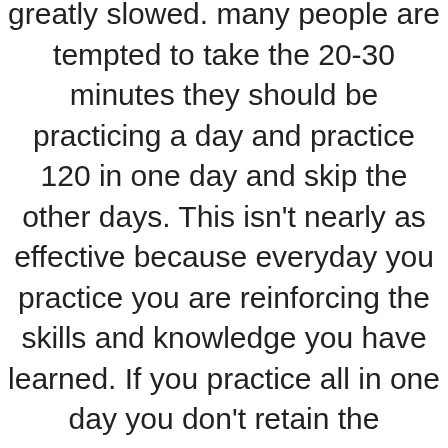greatly slowed. many people are tempted to take the 20-30 minutes they should be practicing a day and practice 120 in one day and skip the other days. This isn't nearly as effective because everyday you practice you are reinforcing the skills and knowledge you have learned. If you practice all in one day you don't retain the information because the brain can realistically only focus for 30 minutes at most. If you're studying for 120 minutes on the same subject little of the information will be absorbed. Studying everyday allows you to review material that you went over previous days and absorb a small amount of information at a time.
It's tough to find motivation to study everyday, but ArabicPod101.com can help. It's easy to stay motivated with ArabicPod101.com because we give you a set